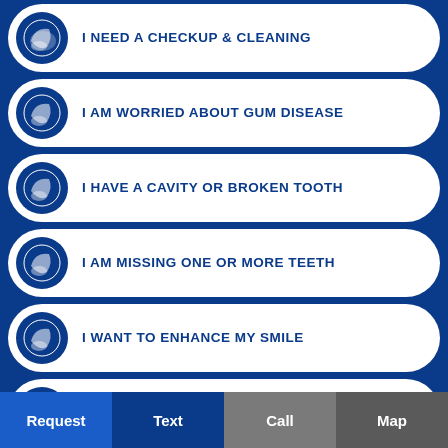I NEED A CHECKUP & CLEANING
I AM WORRIED ABOUT GUM DISEASE
I HAVE A CAVITY OR BROKEN TOOTH
I AM MISSING ONE OR MORE TEETH
I WANT TO ENHANCE MY SMILE
I WANT A STRAIGHTER SMILE
I AM IN PAIN & NEED HELP
Request  Text  Call  Map